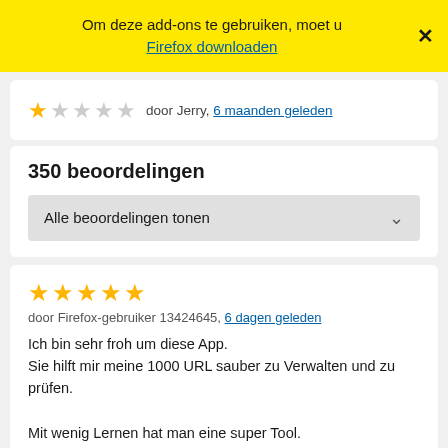Om deze add-ons te gebruiken, moet u Firefox downloaden
★☆☆☆☆ door Jerry, 6 maanden geleden
350 beoordelingen
Alle beoordelingen tonen
★★★★★ door Firefox-gebruiker 13424645, 6 dagen geleden
Ich bin sehr froh um diese App.
Sie hilft mir meine 1000 URL sauber zu Verwalten und zu prüfen.

Mit wenig Lernen hat man eine super Tool.

Danke Sören